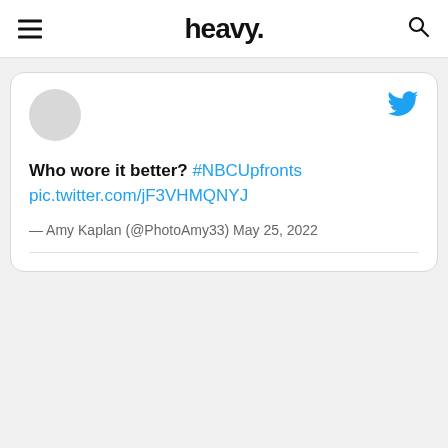heavy.
Who wore it better? #NBCUpfronts pic.twitter.com/jF3VHMQNYJ — Amy Kaplan (@PhotoAmy33) May 25, 2022